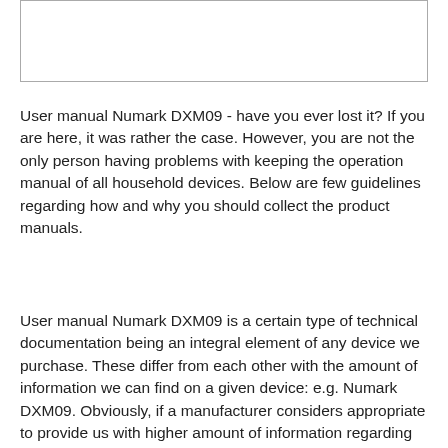[Figure (other): Empty bordered box at top of page]
User manual Numark DXM09 - have you ever lost it? If you are here, it was rather the case. However, you are not the only person having problems with keeping the operation manual of all household devices. Below are few guidelines regarding how and why you should collect the product manuals.
User manual Numark DXM09 is a certain type of technical documentation being an integral element of any device we purchase. These differ from each other with the amount of information we can find on a given device: e.g. Numark DXM09. Obviously, if a manufacturer considers appropriate to provide us with higher amount of information regarding the device Numark DXM09, then we should read it at least